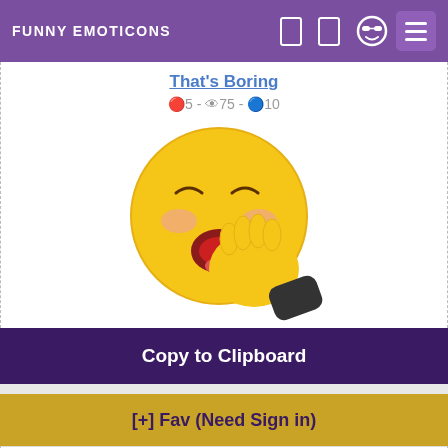FUNNY EMOTICONS
That's Boring
🔴5 - 👁75 - 🔵10
[Figure (illustration): Yawning yellow emoji face covering mouth with hand]
Copy to Clipboard
[+] Fav (Need Sign in)
Uneasy Smile
🔴0 - 👁11 - 🔵3
[Figure (illustration): Uneasy smiling yellow emoji face with blue eyes]